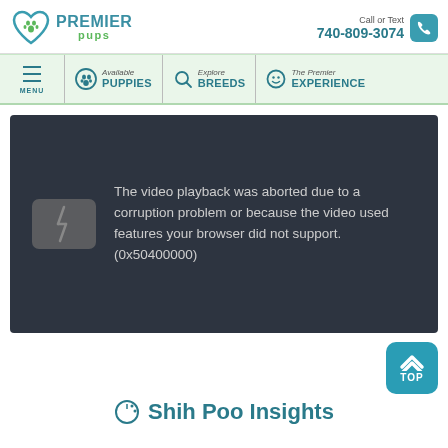[Figure (logo): Premier Pups logo with teal heart and paw print, text PREMIER PUPS]
Call or Text 740-809-3074
[Figure (infographic): Website navigation bar with Menu, Available PUPPIES, Explore BREEDS, The Premier EXPERIENCE]
[Figure (screenshot): Video player showing error: The video playback was aborted due to a corruption problem or because the video used features your browser did not support. (0x50400000)]
[Figure (other): TOP scroll-to-top button (teal rounded square with up chevron)]
Shih Poo Insights